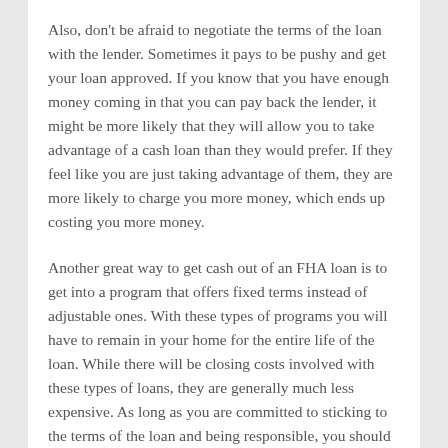Also, don't be afraid to negotiate the terms of the loan with the lender. Sometimes it pays to be pushy and get your loan approved. If you know that you have enough money coming in that you can pay back the lender, it might be more likely that they will allow you to take advantage of a cash loan than they would prefer. If they feel like you are just taking advantage of them, they are more likely to charge you more money, which ends up costing you more money.
Another great way to get cash out of an FHA loan is to get into a program that offers fixed terms instead of adjustable ones. With these types of programs you will have to remain in your home for the entire life of the loan. While there will be closing costs involved with these types of loans, they are generally much less expensive. As long as you are committed to sticking to the terms of the loan and being responsible, you should